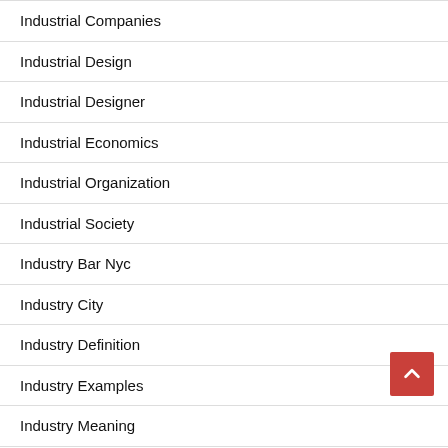Industrial Companies
Industrial Design
Industrial Designer
Industrial Economics
Industrial Organization
Industrial Society
Industry Bar Nyc
Industry City
Industry Definition
Industry Examples
Industry Meaning
Industry Restaurant
Industry Sector Definition
Industry S…